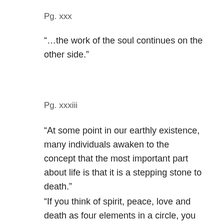Pg. xxx
“…the work of the soul continues on the other side.”
Pg. xxxiii
“At some point in our earthly existence, many individuals awaken to the concept that the most important part about life is that it is a stepping stone to death.”
“If you think of spirit, peace, love and death as four elements in a circle, you may envision a map